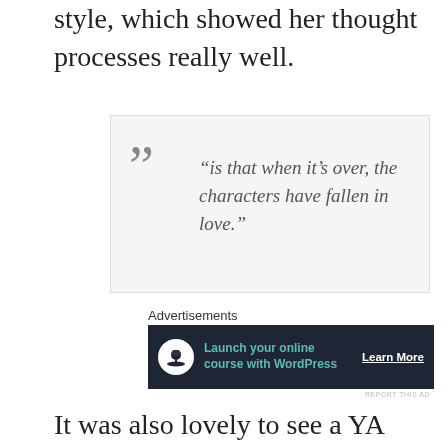style, which showed her thought processes really well.
“is that when it’s over, the characters have fallen in love.”
Advertisements
[Figure (infographic): Advertisement banner with dark background showing a bonsai tree icon and text 'Launch your online course with WordPress' with a 'Learn More' call-to-action button]
It was also lovely to see a YA book set in Ireland and with so many mentions of Irish culture. It is definitely something we don’t see a lot of in YA and really made this book stand